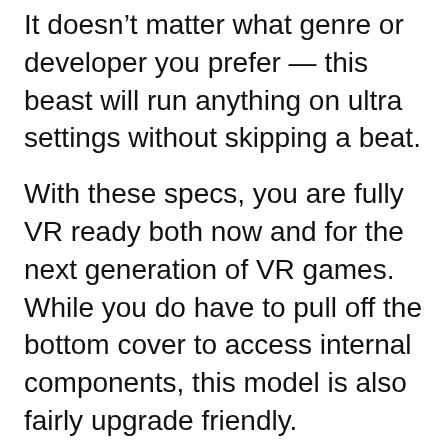It doesn’t matter what genre or developer you prefer — this beast will run anything on ultra settings without skipping a beat.
With these specs, you are fully VR ready both now and for the next generation of VR games. While you do have to pull off the bottom cover to access internal components, this model is also fairly upgrade friendly.
What you get here is a pure desktop replacement in terms of both hardware specs and display quality. With a 17” screen featuring G-SYNC, there are high